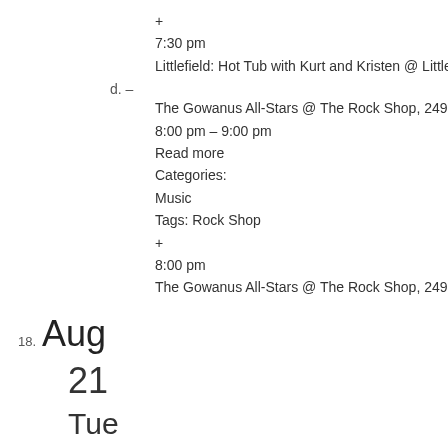+
7:30 pm
Littlefield: Hot Tub with Kurt and Kristen @ Littlefield
d. –
The Gowanus All-Stars @ The Rock Shop, 249 4th Avenue, Broo
8:00 pm – 9:00 pm
Read more
Categories:
Music
Tags: Rock Shop
+
8:00 pm
The Gowanus All-Stars @ The Rock Shop, 249 4th Avenue, Broo
18. Aug
21
Tue
a. –
Drawing 101